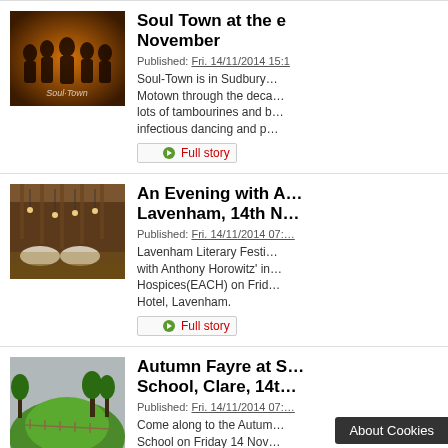[Figure (photo): Band photo for Soul Town event, dark orange/amber background with musicians]
Soul Town at the … November
Published: Fri. 14/11/2014 15:…
Soul-Town is in Sudbury … Motown through the deca… lots of tambourines and b… infectious dancing and p…
Full story
[Figure (photo): Interior of a barn venue with hanging lights, tables set for dining]
An Evening with A… Lavenham, 14th N…
Published: Fri. 14/11/2014 07:…
Lavenham Literary Festi… with Anthony Horowitz' in… Hospices(EACH) on Fri… Hotel, Lavenham.
Full story
[Figure (photo): Green grassy mound or hill with trees in background, grey sky]
Autumn Fayre at S… School, Clare, 14t…
Published: Fri. 14/11/2014 07:…
Come along to the Autum… School on Friday 14 Nov… beauty demonstrations, f… occasions, jewellery, spe…
Fu…
About Cookies